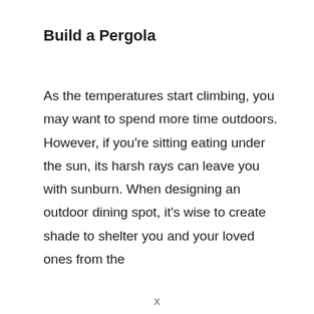Build a Pergola
As the temperatures start climbing, you may want to spend more time outdoors. However, if you're sitting eating under the sun, its harsh rays can leave you with sunburn. When designing an outdoor dining spot, it's wise to create shade to shelter you and your loved ones from the
X